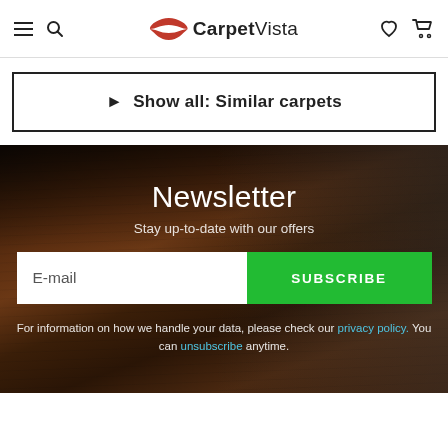CarpetVista — navigation header with hamburger menu, search, logo, wishlist and cart icons
▶ Show all: Similar carpets
Newsletter
Stay up-to-date with our offers
E-mail
SUBSCRIBE
For information on how we handle your data, please check our privacy policy. You can unsubscribe anytime.